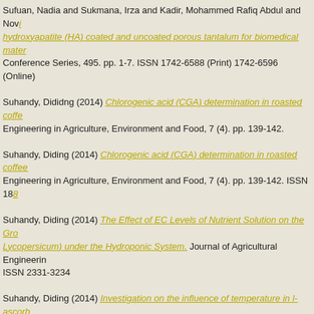Sufuan, Nadia and Sukmana, Irza and Kadir, Mohammed Rafiq Abdul and Novi... hydroxyapatite (HA) coated and uncoated porous tantalum for biomedical mate... Conference Series, 495. pp. 1-7. ISSN 1742-6588 (Print) 1742-6596 (Online)
Suhandy, Dididng (2014) Chlorogenic acid (CGA) determination in roasted coffe... Engineering in Agriculture, Environment and Food, 7 (4). pp. 139-142.
Suhandy, Diding (2014) Chlorogenic acid (CGA) determination in roasted coffee... Engineering in Agriculture, Environment and Food, 7 (4). pp. 139-142. ISSN 18...
Suhandy, Diding (2014) The Effect of EC Levels of Nutrient Solution on the Gro... Lycopersicum) under the Hydroponic System. Journal of Agricultural Engineerin... ISSN 2331-3234
Suhandy, Diding (2014) Investigation on the influence of temperature in l-ascorb... terahertz spectroscopy: Calibration model with temperature compensation. Eng... Food, 7 (4). pp. 148-154. ISSN 1881-8366